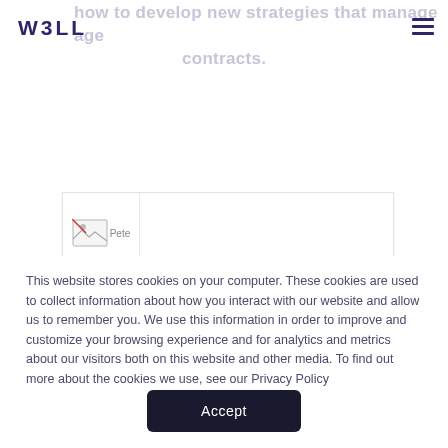W3LL
how to develop new strategies that manage age contracts.
[Figure (photo): Pete profile image placeholder with broken image icon]
This website stores cookies on your computer. These cookies are used to collect information about how you interact with our website and allow us to remember you. We use this information in order to improve and customize your browsing experience and for analytics and metrics about our visitors both on this website and other media. To find out more about the cookies we use, see our Privacy Policy
Accept